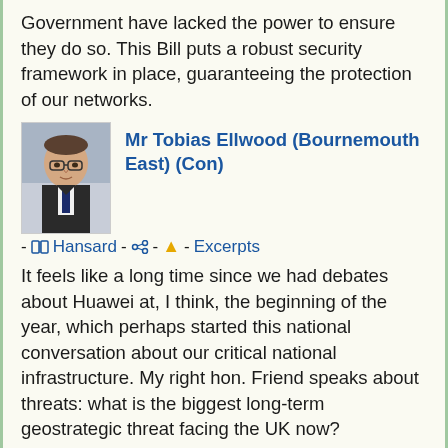Government have lacked the power to ensure they do so. This Bill puts a robust security framework in place, guaranteeing the protection of our networks.
Mr Tobias Ellwood (Bournemouth East) (Con)
- Hansard - - Excerpts
It feels like a long time since we had debates about Huawei at, I think, the beginning of the year, which perhaps started this national conversation about our critical national infrastructure. My right hon. Friend speaks about threats: what is the biggest long-term geostrategic threat facing the UK now?
Oliver Dowden